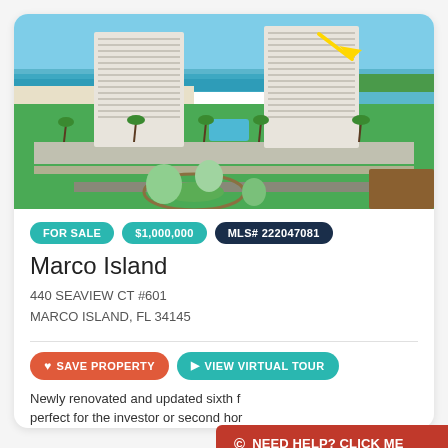[Figure (photo): Aerial drone photo of two tall condominium towers on Marco Island, Florida, with white sand beach, turquoise ocean, swimming pool between buildings, palm trees, parking lots, and lush greenery. A yellow arrow points to the right tower. Mangroves and waterways visible in background.]
FOR SALE   $1,000,000   MLS# 222047081
Marco Island
440 SEAVIEW CT #601
MARCO ISLAND, FL 34145
SAVE PROPERTY   VIEW VIRTUAL TOUR
Newly renovated and updated sixth f perfect for the investor or second hor
NEED HELP? CLICK ME